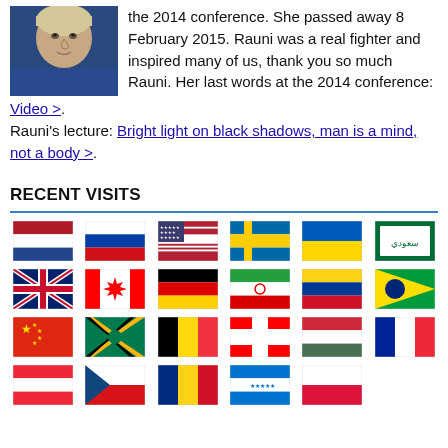[Figure (photo): Photo of an elderly woman with short blonde/white hair, wearing a blue jacket, looking sideways]
the 2014 conference. She passed away 8 February 2015. Rauni was a real fighter and inspired many of us, thank you so much Rauni. Her last words at the 2014 conference: Video >. Rauni's lecture: Bright light on black shadows, man is a mind, not a body >.
RECENT VISITS
[Figure (infographic): Grid of 23 country flags showing recent website visitors. Row 1: Netherlands, Russia, USA, Sweden, Ukraine, Saudi Arabia. Row 2: UK, Canada, Germany, Iran, Colombia, Brazil. Row 3: China, South Africa, Belgium, Switzerland, Hungary, France. Row 4: Austria, Czech Republic, Romania, Honduras, Poland.]